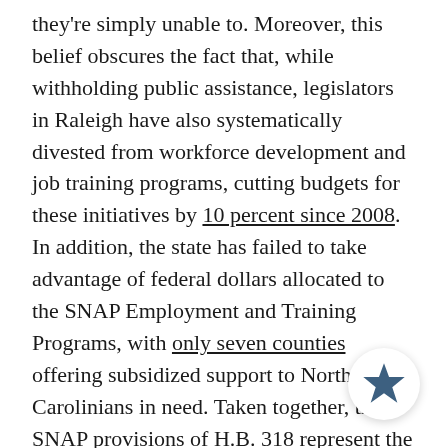they're simply unable to. Moreover, this belief obscures the fact that, while withholding public assistance, legislators in Raleigh have also systematically divested from workforce development and job training programs, cutting budgets for these initiatives by 10 percent since 2008. In addition, the state has failed to take advantage of federal dollars allocated to the SNAP Employment and Training Programs, with only seven counties offering subsidized support to North Carolinians in need. Taken together, the SNAP provisions of H.B. 318 represent the clear and total abandonment of low-income people seeking work and trying to feed themselves. It's hard to fathom how the legislature could reduce jobless benefits while simultaneously making it
[Figure (illustration): A circular white badge with a dark blue/teal star icon in the center, positioned in the bottom-right corner of the page.]